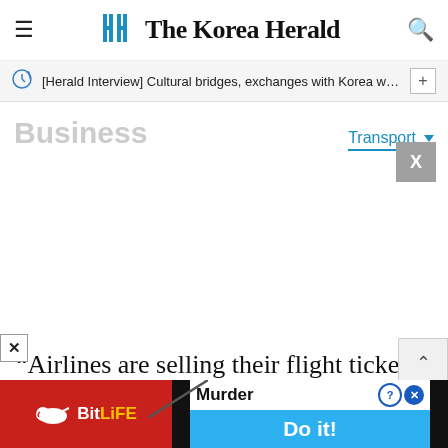The Korea Herald
[Herald Interview] Cultural bridges, exchanges with Korea would…
Business
Transport
[Figure (other): Advertisement placeholder area (blank white space)]
“Airlines are selling their flight tickets well and there is a supply shortage. We are in a
[Figure (other): BitLife mobile game advertisement banner at the bottom of the page showing 'Murder Do it!' text]